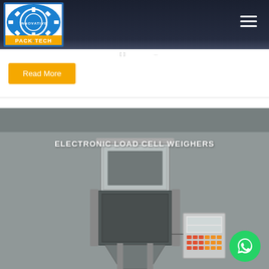[Figure (logo): Innovative Pack-Tech company logo with gear/cog design, blue circular top half and orange bottom banner with company name]
Read More
[Figure (photo): Electronic Load Cell Weighers machine photograph with grey overlay, showing a weighing machine with hopper and electronic display panel on the right side]